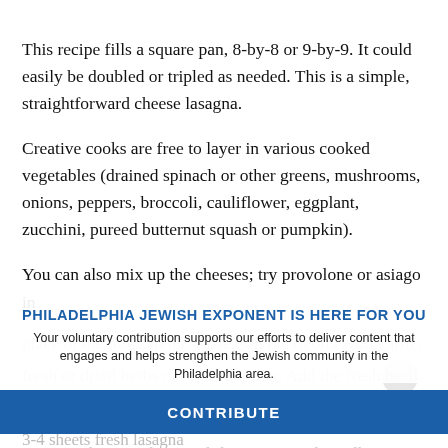This recipe fills a square pan, 8-by-8 or 9-by-9. It could easily be doubled or tripled as needed. This is a simple, straightforward cheese lasagna.
Creative cooks are free to layer in various cooked vegetables (drained spinach or other greens, mushrooms, onions, peppers, broccoli, cauliflower, eggplant, zucchini, pureed butternut squash or pumpkin).
You can also mix up the cheeses; try provolone or asiago in place of the mozzarella. Or season the ricotta with garlic, fresh or dried herbs or minced onion. Add the fresh basil and add it to the marinara layers. The possibilities are nearly endless.
PHILADELPHIA JEWISH EXPONENT IS HERE FOR YOU
Your voluntary contribution supports our efforts to deliver content that engages and helps strengthen the Jewish community in the Philadelphia area.
CONTRIBUTE
3-4 sheets fresh lasagna